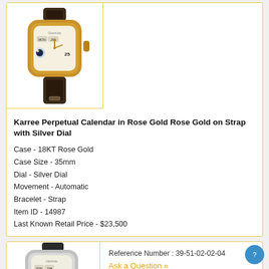[Figure (photo): Gold-cased Glashütte Karree Perpetual Calendar watch with dark leather strap and silver dial, showing moon phase and date complications]
Karree Perpetual Calendar in Rose Gold Rose Gold on Strap with Silver Dial
Case - 18KT Rose Gold
Case Size - 35mm
Dial - Silver Dial
Movement - Automatic
Bracelet - Strap
Item ID - 14987
Last Known Retail Price - $23,500
[Figure (photo): Silver-cased Glashütte Karree Perpetual Calendar watch with dark leather strap and silver dial, showing moon phase and date complications]
Reference Number : 39-51-02-02-04
Ask a Question »
Have us find this watch »